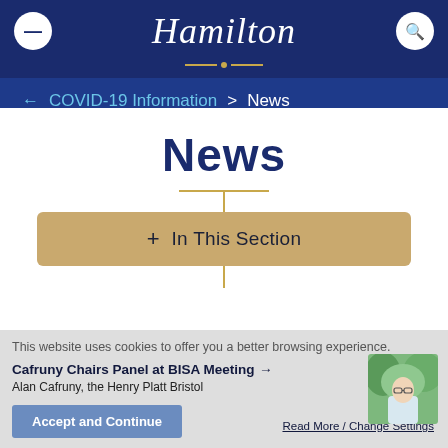Hamilton
← COVID-19 Information > News
News
+ In This Section
This website uses cookies to offer you a better browsing experience.
Cafruny Chairs Panel at BISA Meeting
Alan Cafruny, the Henry Platt Bristol
Accept and Continue
Read More / Change Settings